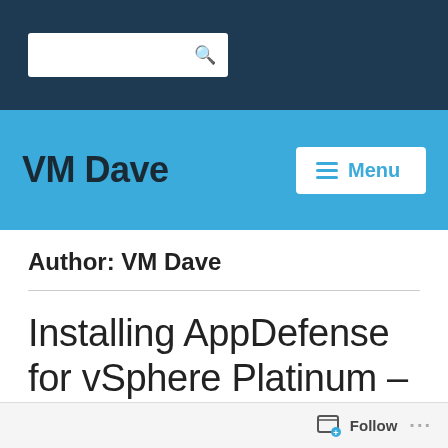[Figure (screenshot): Search box with magnifying glass icon on dark navy background]
VM Dave
Menu
Author: VM Dave
Installing AppDefense for vSphere Platinum – Step by Step
Follow